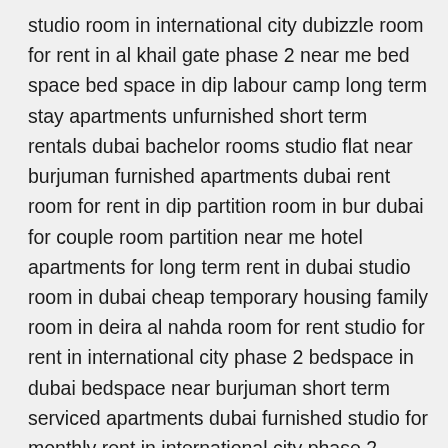studio room in international city dubizzle room for rent in al khail gate phase 2 near me bed space bed space in dip labour camp long term stay apartments unfurnished short term rentals dubai bachelor rooms studio flat near burjuman furnished apartments dubai rent room for rent in dip partition room in bur dubai for couple room partition near me hotel apartments for long term rent in dubai studio room in dubai cheap temporary housing family room in deira al nahda room for rent studio for rent in international city phase 2 bedspace in dubai bedspace near burjuman short term serviced apartments dubai furnished studio for monthly rent in international city phase 2 spinneys karama house for rent for 1 month chiller free studio for rent in dubai dubizzle bed space flexible lease apartments cheapest studio in dubai cheap studio apartment in dubai for rent furnished apartments for rent in dubai marina short term lease apartments executive bed space rent apartment dubai furnished monthly stay rentals family room in karama bed space in dip 1 fully